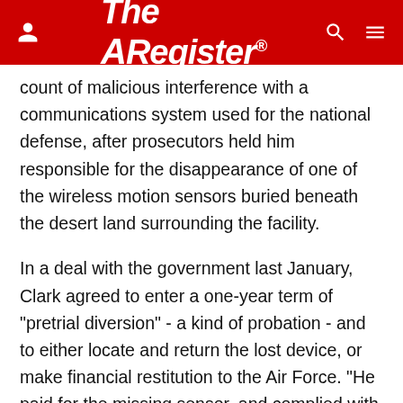The Register
count of malicious interference with a communications system used for the national defense, after prosecutors held him responsible for the disappearance of one of the wireless motion sensors buried beneath the desert land surrounding the facility.
In a deal with the government last January, Clark agreed to enter a one-year term of "pretrial diversion" - a kind of probation - and to either locate and return the lost device, or make financial restitution to the Air Force. "He paid for the missing sensor, and complied with the conditions of his pretrial diversion and the case was dismissed," says Natalie Collins, a spokesperson for the US Attorney's Office in Las Vegas.